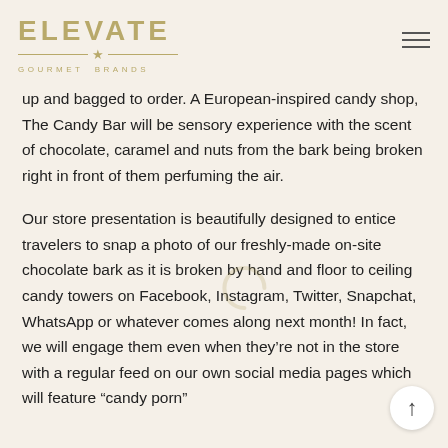ELEVATE GOURMET BRANDS
up and bagged to order. A European-inspired candy shop, The Candy Bar will be sensory experience with the scent of chocolate, caramel and nuts from the bark being broken right in front of them perfuming the air.
Our store presentation is beautifully designed to entice travelers to snap a photo of our freshly-made on-site chocolate bark as it is broken by hand and floor to ceiling candy towers on Facebook, Instagram, Twitter, Snapchat, WhatsApp or whatever comes along next month! In fact, we will engage them even when they're not in the store with a regular feed on our own social media pages which will feature “candy porn”